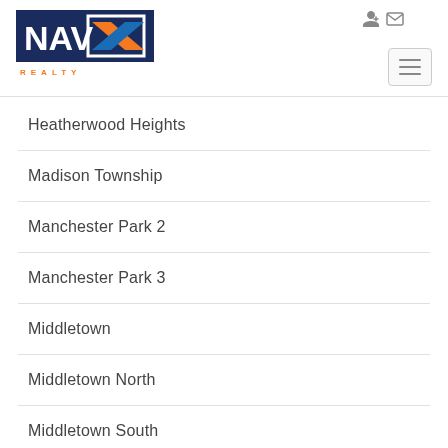[Figure (logo): NAV-X Realty logo with dark blue background, white NAV text, orange and blue X arrow symbol, white bordered square, and orange REALTY text below]
Heatherwood Heights
Madison Township
Manchester Park 2
Manchester Park 3
Middletown
Middletown North
Middletown South